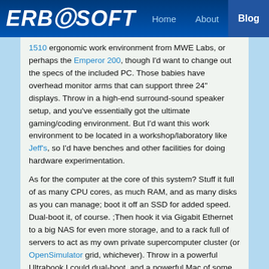ERBOSOFT  Home  About  Blog
1510 ergonomic work environment from MWE Labs, or perhaps the Emperor 200, though I'd want to change out the specs of the included PC. Those babies have overhead monitor arms that can support three 24" displays. Throw in a high-end surround-sound speaker setup, and you've essentially got the ultimate gaming/coding environment. But I'd want this work environment to be located in a workshop/laboratory like Jeff's, so I'd have benches and other facilities for doing hardware experimentation.
As for the computer at the core of this system? Stuff it full of as many CPU cores, as much RAM, and as many disks as you can manage; boot it off an SSD for added speed. Dual-boot it, of course. ;Then hook it via Gigabit Ethernet to a big NAS for even more storage, and to a rack full of servers to act as my own private supercomputer cluster (or OpenSimulator grid, whichever). Throw in a powerful Ultrabook I could dual-boot, and a powerful Mac of some